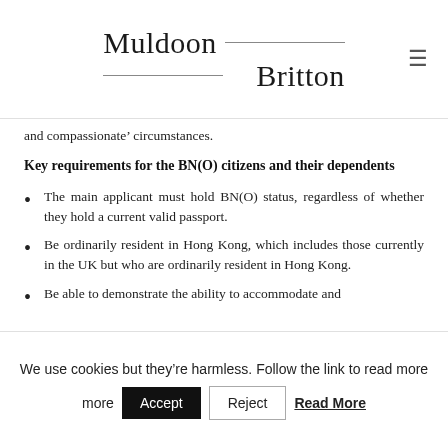[Figure (logo): Muldoon Britton law firm logo with horizontal lines]
and compassionate’ circumstances.
Key requirements for the BN(O) citizens and their dependents
The main applicant must hold BN(O) status, regardless of whether they hold a current valid passport.
Be ordinarily resident in Hong Kong, which includes those currently in the UK but who are ordinarily resident in Hong Kong.
Be able to demonstrate the ability to accommodate and
We use cookies but they’re harmless. Follow the link to read more  Accept  Reject  Read More